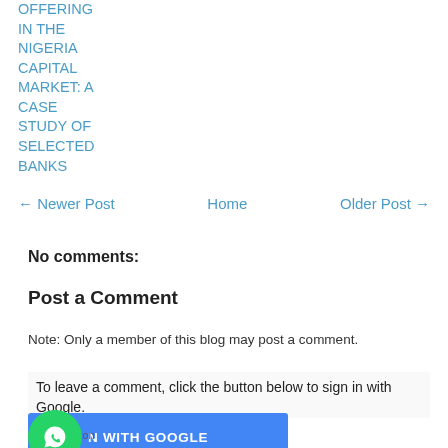OFFERING IN THE NIGERIA CAPITAL MARKET: A CASE STUDY OF SELECTED BANKS
← Newer Post   Home   Older Post →
No comments:
Post a Comment
Note: Only a member of this blog may post a comment.
To leave a comment, click the button below to sign in with Google.
[Figure (other): Sign in with Google button with WhatsApp icon overlay]
GetButton